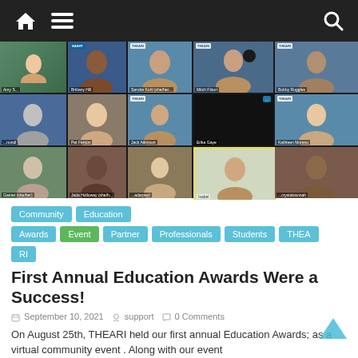Navigation bar with home, menu, and search icons
[Figure (screenshot): Video conference grid showing approximately 15 participants in a virtual meeting, with THEARI branding visible on several participant screens. Participants include Brittany Hill, Sandra Kohl, Mitch Fitton, Bobby Ruggles, and others.]
Community
Education
Awards
Event
Partner
Professionals
Students
THEARI
First Annual Education Awards Were a Success!
September 10, 2021   support   0 Comments
On August 25th, THEARI held our first annual Education Awards; as a virtual community event . Along with our event